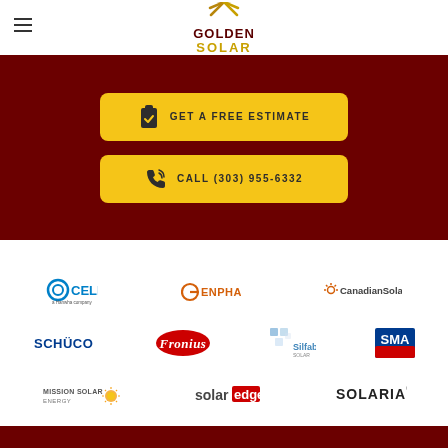[Figure (logo): Golden Solar logo with sun rays and text]
[Figure (infographic): Dark red banner with two yellow call-to-action buttons: GET A FREE ESTIMATE and CALL (303) 955-6332]
[Figure (logo): Partner brand logos grid: Q CELLS, ENPHASE, CanadianSolar, SCHUCO, Fronius, Silfab, SMA, Mission Solar Energy, SolarEdge, SOLARIA]